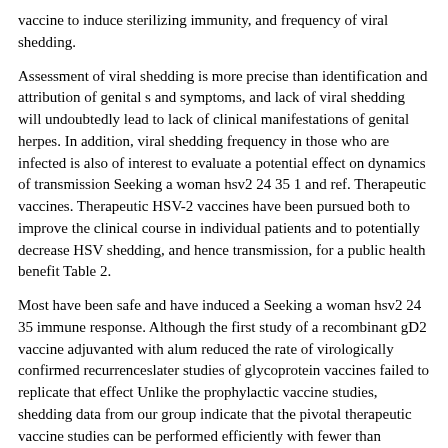vaccine to induce sterilizing immunity, and frequency of viral shedding.
Assessment of viral shedding is more precise than identification and attribution of genital s and symptoms, and lack of viral shedding will undoubtedly lead to lack of clinical manifestations of genital herpes. In addition, viral shedding frequency in those who are infected is also of interest to evaluate a potential effect on dynamics of transmission Seeking a woman hsv2 24 35 1 and ref. Therapeutic vaccines. Therapeutic HSV-2 vaccines have been pursued both to improve the clinical course in individual patients and to potentially decrease HSV shedding, and hence transmission, for a public health benefit Table 2.
Most have been safe and have induced a Seeking a woman hsv2 24 35 immune response. Although the first study of a recombinant gD2 vaccine adjuvanted with alum reduced the rate of virologically confirmed recurrenceslater studies of glycoprotein vaccines failed to replicate that effect Unlike the prophylactic vaccine studies, shedding data from our group indicate that the pivotal therapeutic vaccine studies can be performed efficiently with fewer than individuals if viral shedding is used as an endpoint 33whereas prophylactic vaccination studies require a much larger sample size.
Viral shedding to ...